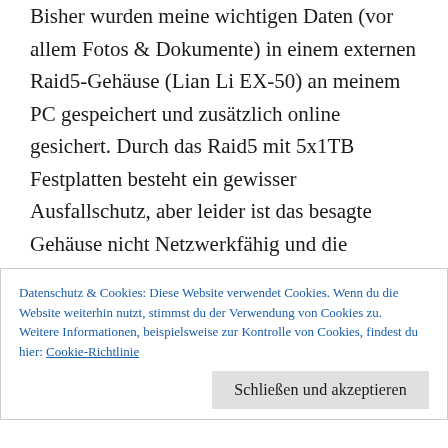Bisher wurden meine wichtigen Daten (vor allem Fotos & Dokumente) in einem externen Raid5-Gehäuse (Lian Li EX-50) an meinem PC gespeichert und zusätzlich online gesichert. Durch das Raid5 mit 5x1TB Festplatten besteht ein gewisser Ausfallschutz, aber leider ist das besagte Gehäuse nicht Netzwerkfähig und die Software ist auch schon etwas veraltet. Deshalb habe ich das Gehäuse vor kurzem durch ein Synology DS1511+ NAS ersetzt,
Datenschutz & Cookies: Diese Website verwendet Cookies. Wenn du die Website weiterhin nutzt, stimmst du der Verwendung von Cookies zu.
Weitere Informationen, beispielsweise zur Kontrolle von Cookies, findest du hier: Cookie-Richtlinie
Schließen und akzeptieren
... um für den Betrieb des DSM ...